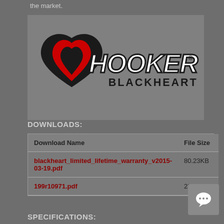the market.
[Figure (logo): Hooker Blackheart logo — black heart shape with red flames, bold italic HOOKER text in white with black outline, BLACKHEART text below in black]
DOWNLOADS:
| Download Name | File Size |
| --- | --- |
| blackheart_limited_lifetime_warranty_v2015-03-19.pdf | 80.23KB |
| 199r10971.pdf | 236.91KB |
SPECIFICATIONS: